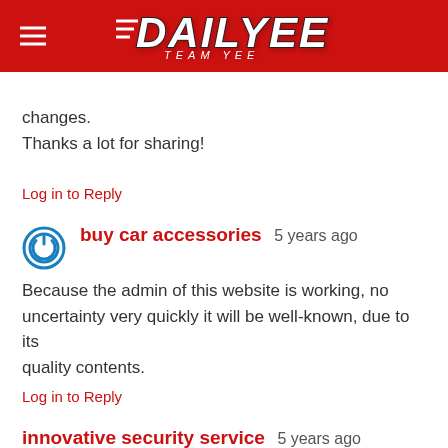DAILYEE TEAM YEE
changes.
Thanks a lot for sharing!
Log in to Reply
buy car accessories  5 years ago
Because the admin of this website is working, no uncertainty very quickly it will be well-known, due to its quality contents.
Log in to Reply
innovative security service  5 years ago
Great delivery. Sound arguments. Keep up the amazing spirit.
Log in to Reply